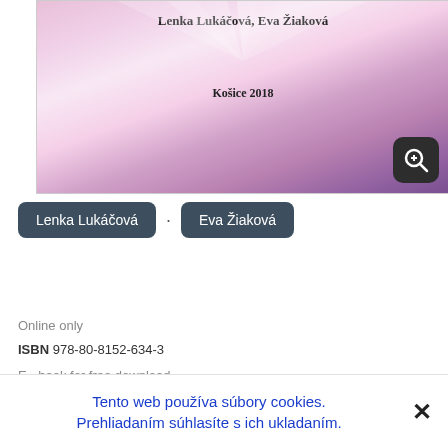[Figure (illustration): Book cover with pink-purple gradient background showing author names 'Lenka Lukáčová, Eva Žiaková' and 'Košice 2018', with a magnify button in the bottom right corner]
Lenka Lukáčová · Eva Žiaková
Pdf download
Online only
ISBN 978-80-8152-634-3
E - book for free download
Tento web používa súbory cookies. Prehliadaním súhlasíte s ich ukladaním.